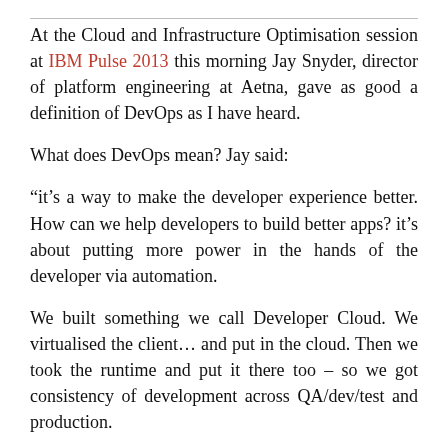At the Cloud and Infrastructure Optimisation session at IBM Pulse 2013 this morning Jay Snyder, director of platform engineering at Aetna, gave as good a definition of DevOps as I have heard.
What does DevOps mean? Jay said:
“it’s a way to make the developer experience better. How can we help developers to build better apps? it’s about putting more power in the hands of the developer via automation.
We built something we call Developer Cloud. We virtualised the client… and put in the cloud. Then we took the runtime and put it there too – so we got consistency of development across QA/dev/test and production.
Developers get a fully functional environment